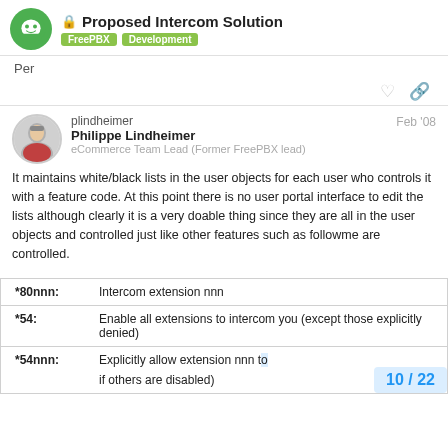Proposed Intercom Solution — FreePBX › Development
Per
plindheimer Philippe Lindheimer eCommerce Team Lead (Former FreePBX lead) Feb '08
It maintains white/black lists in the user objects for each user who controls it with a feature code. At this point there is no user portal interface to edit the lists although clearly it is a very doable thing since they are all in the user objects and controlled just like other features such as followme are controlled.
| Code | Description |
| --- | --- |
| *80nnn: | Intercom extension nnn |
| *54: | Enable all extensions to intercom you (except those explicitly denied) |
| *54nnn: | Explicitly allow extension nnn to intercom you (even if others are disabled) |